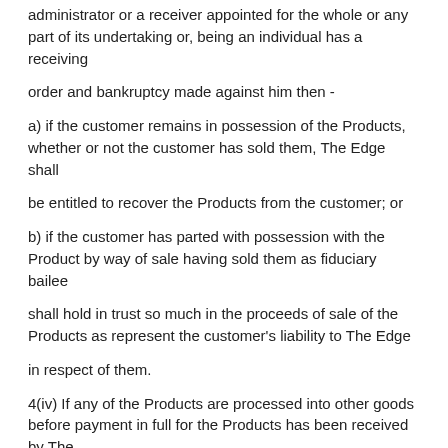administrator or a receiver appointed for the whole or any part of its undertaking or, being an individual has a receiving
order and bankruptcy made against him then -
a) if the customer remains in possession of the Products, whether or not the customer has sold them, The Edge shall
be entitled to recover the Products from the customer; or
b) if the customer has parted with possession with the Product by way of sale having sold them as fiduciary bailee
shall hold in trust so much in the proceeds of sale of the Products as represent the customer's liability to The Edge
in respect of them.
4(iv) If any of the Products are processed into other goods before payment in full for the Products has been received by The
Edge, the Customer shall hold the Products and such other goods on trust for the Edge until such payment is made and